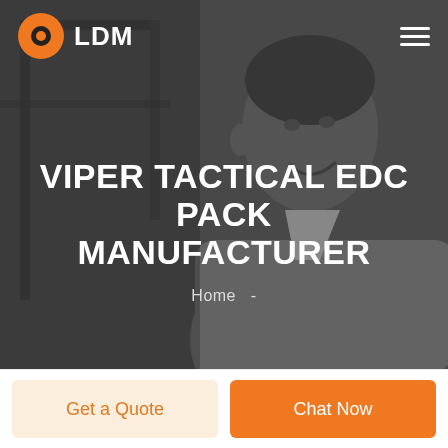[Figure (photo): Hero section with a grayscale/dark-tinted background photo of a smiling man in a light jacket, used as a website header image]
LDM
VIPER TACTICAL EDC PACK MANUFACTURER
Home  -
Get a Quote
Chat Now